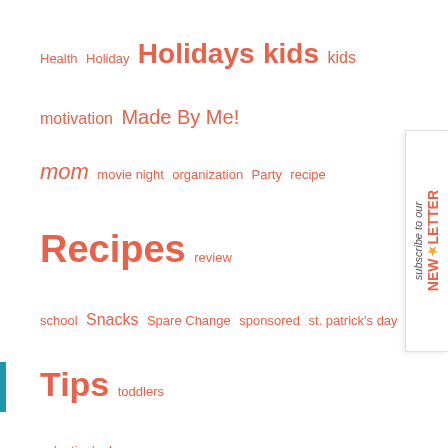Health Holiday Holidays kids kids motivation Made By Me! mom movie night organization Party recipe Recipes review school Snacks Spare Change sponsored st. patrick's day Tips toddlers valentine's day
ARCHIVES
Select Month
Copyright © 2022 · Custom Theme by Creative Girl Media